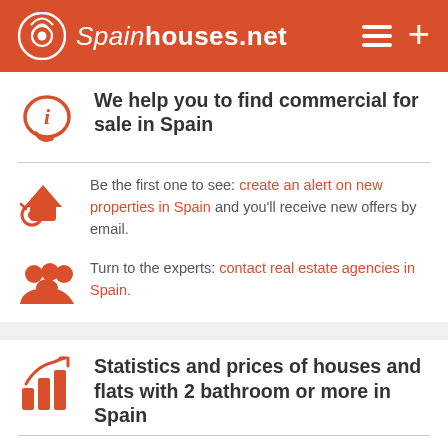Spainhouses.net
We help you to find commercial for sale in Spain
Be the first one to see: create an alert on new properties in Spain and you'll receive new offers by email.
Turn to the experts: contact real estate agencies in Spain.
Statistics and prices of houses and flats with 2 bathroom or more in Spain
Cheapest areas: Estremadura, Aragon, Castile and Leon